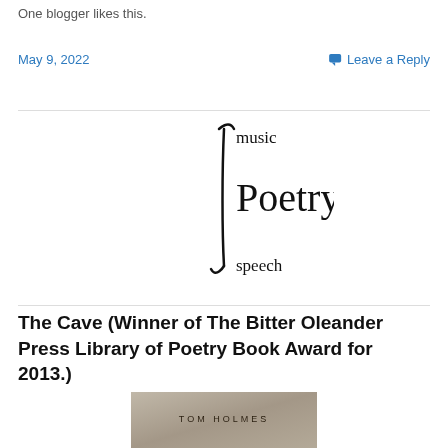One blogger likes this.
May 9, 2022
Leave a Reply
[Figure (illustration): A large integral symbol with the words 'music' at the top, 'Poetry' in the middle (large serif font), and 'speech' at the bottom — representing poetry as the integral of music and speech.]
The Cave (Winner of The Bitter Oleander Press Library of Poetry Book Award for 2013.)
[Figure (photo): Book cover of 'The Cave' by Tom Holmes, showing a stone or cave texture with the author's name TOM HOLMES visible.]